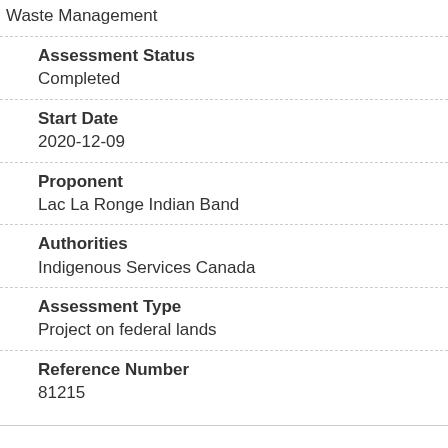Waste Management
Assessment Status
Completed
Start Date
2020-12-09
Proponent
Lac La Ronge Indian Band
Authorities
Indigenous Services Canada
Assessment Type
Project on federal lands
Reference Number
81215
Nearby assessments
within 200 kilometres